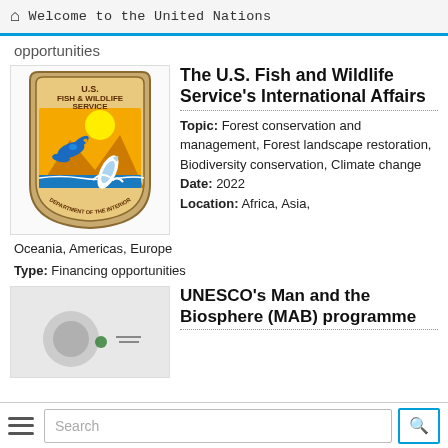Welcome to the United Nations
opportunities
[Figure (logo): U.S. Fish & Wildlife Service - Department of the Interior logo/badge with blue duck and fish on orange/yellow background]
The U.S. Fish and Wildlife Service's International Affairs
Topic: Forest conservation and management, Forest landscape restoration, Biodiversity conservation, Climate change
Date: 2022
Location: Africa, Asia, Oceania, Americas, Europe
Type: Financing opportunities
[Figure (logo): UNESCO Man and the Biosphere (MAB) programme logo - partially visible]
UNESCO's Man and the Biosphere (MAB) programme
Search